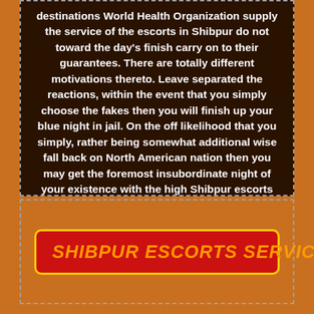destinations World Health Organization supply the service of the escorts in Shibpur do not toward the day's finish carry on to their guarantees. There are totally different motivations thereto. Leave separated the reactions, within the event that you simply choose the fakes then you will finish up your blue night in jail. On the off likelihood that you simply, rather being somewhat additional wise fall back on North American nation then you may get the foremost insubordinate night of your existence with the high Shibpur escorts Shibpur.
SHIBPUR ESCORTS SERVICES